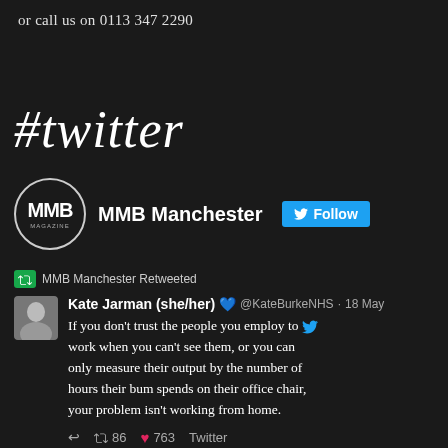or call us on 0113 347 2290
#twitter
[Figure (screenshot): MMB Manchester Twitter profile header with circular MMB logo and Follow button]
[Figure (screenshot): Tweet by Kate Jarman (she/her) @KateBurkeNHS · 18 May: 'If you don't trust the people you employ to work when you can't see them, or you can only measure their output by the number of hours their bum spends on their office chair, your problem isn't working from home.' With 86 retweets and 763 likes.]